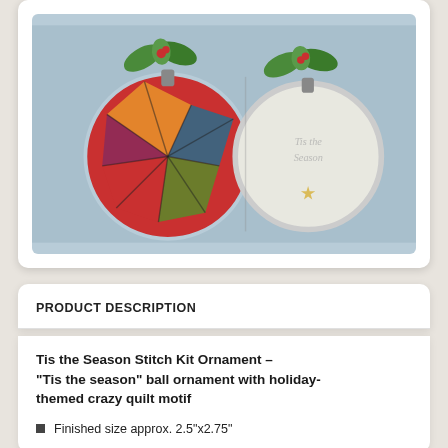[Figure (photo): Two Christmas ball ornaments on a blue background — left ornament is red with a holiday crazy quilt motif, right ornament is white with 'Tis the Season' text. Both ornaments have green holly/leaves at the top.]
PRODUCT DESCRIPTION
Tis the Season Stitch Kit Ornament – "Tis the season" ball ornament with holiday-themed crazy quilt motif
Finished size approx. 2.5"x2.75"